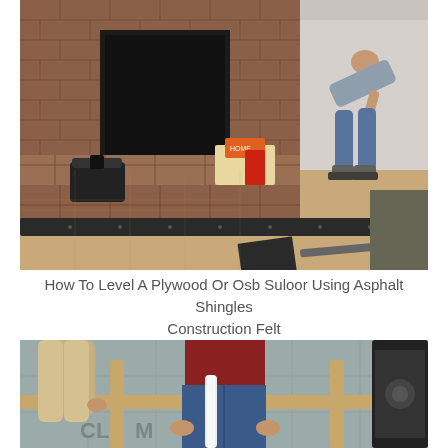[Figure (photo): Indoor room under construction. A brick fireplace with a hearth is visible on the left. A person (wearing jeans and a gray shirt) is bent over working on the plywood subfloor on the right. A dark strip of asphalt shingle or construction felt runs along the floor in front of the hearth. Tools and construction materials are stacked on the hearth.]
How To Level A Plywood Or Osb Suloor Using Asphalt Shingles Construction Felt
[Figure (photo): Two people kneeling on a concrete or tiled floor working on a wooden frame structure. One person is on the left wearing khaki pants, the other in the center/right wearing jeans and a dark red shirt. A white PVC pipe or tool is visible between them. The bottom of the image is partially cut off.]